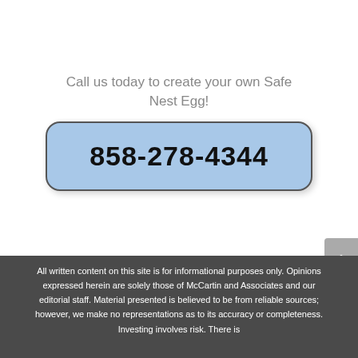Call us today to create your own Safe Nest Egg!
858-278-4344
All written content on this site is for informational purposes only. Opinions expressed herein are solely those of McCartin and Associates and our editorial staff. Material presented is believed to be from reliable sources; however, we make no representations as to its accuracy or completeness. Investing involves risk. There is